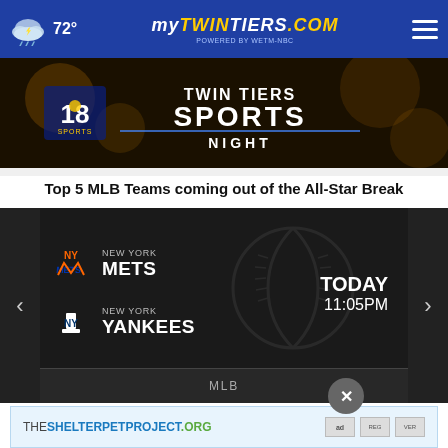72° mytwintiers.com
[Figure (illustration): Twin Tiers Sports Night banner with NBC 18 Sports logo on dark golden background]
Top 5 MLB Teams coming out of the All-Star Break
[Figure (infographic): Sports scores widget showing New York Mets vs New York Yankees game TODAY at 11:05PM with team logos and navigation arrows, MLB label at bottom]
[Figure (illustration): TheShelterPetProject.org advertisement banner with ad certification icons]